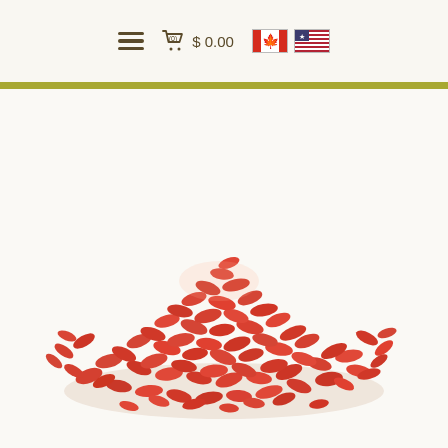≡  🛒(0)  $ 0.00  [CA flag] [US flag]
[Figure (photo): A large pile of dried red goji berries on a white/cream background. The berries are small, oval-shaped, and bright red-orange in color, piled into a mound in the center of the image.]